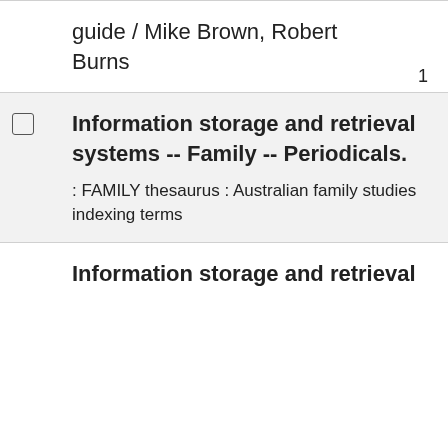guide / Mike Brown, Robert Burns
Information storage and retrieval systems -- Family -- Periodicals.
: FAMILY thesaurus : Australian family studies indexing terms
1
Information storage and retrieval